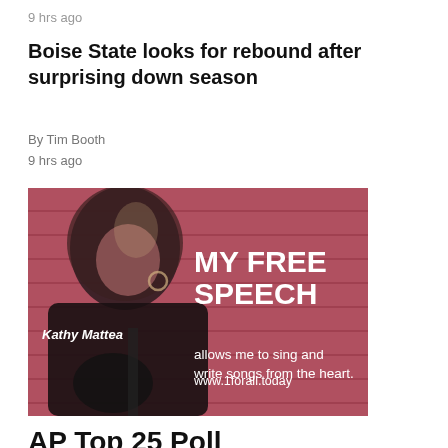9 hrs ago
Boise State looks for rebound after surprising down season
By Tim Booth
9 hrs ago
[Figure (photo): Advertisement featuring Kathy Mattea with text 'MY FREE SPEECH allows me to sing and write songs from the heart. www.1forall.today']
AP Top 25 Poll